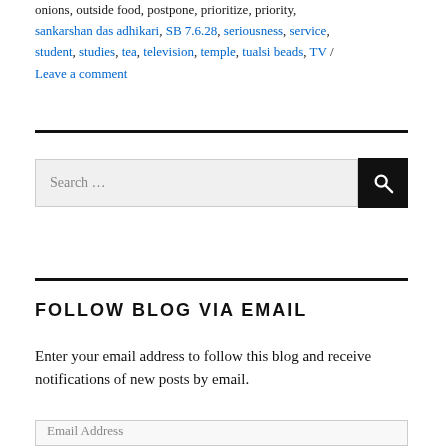onions, outside food, postpone, prioritize, priority, sankarshan das adhikari, SB 7.6.28, seriousness, service, student, studies, tea, television, temple, tualsi beads, TV / Leave a comment
Search …
FOLLOW BLOG VIA EMAIL
Enter your email address to follow this blog and receive notifications of new posts by email.
Email Address